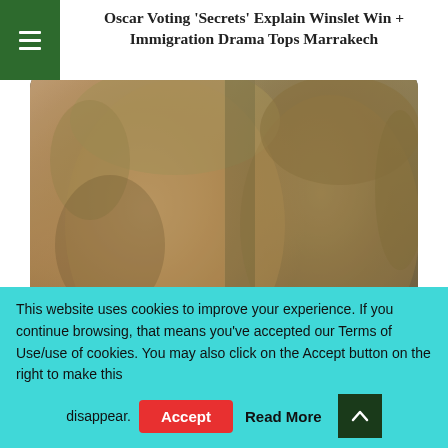Oscar Voting ‘Secrets’ Explain Winslet Win + Immigration Drama Tops Marrakech
[Figure (photo): Two people's faces close together — a middle-aged blond man in the foreground on the left, and a woman partially visible on the right, both with serious expressions, in a muted green/brown outdoor setting.]
This website uses cookies to improve your experience. If you continue browsing, that means you’ve accepted our Terms of Use/use of cookies. You may also click on the Accept button on the right to make this disappear.